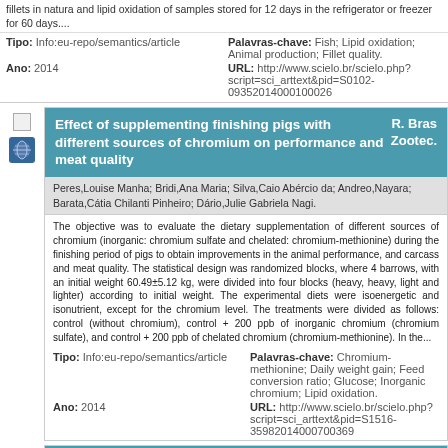fillets in natura and lipid oxidation of samples stored for 12 days in the refrigerator or freezer for 60 days....
Tipo: Info:eu-repo/semantics/article
Palavras-chave: Fish; Lipid oxidation; Animal production; Fillet quality.
Ano: 2014
URL: http://www.scielo.br/scielo.php?script=sci_arttext&pid=S0102-09352014000100026
Effect of supplementing finishing pigs with different sources of chromium on performance and meat quality
R. Bras. Zootec.
Peres,Louise Manha; Bridi,Ana Maria; Silva,Caio Abércio da; Andreo,Nayara; Barata,Cátia Chilanti Pinheiro; Dário,Julie Gabriela Nagi.
The objective was to evaluate the dietary supplementation of different sources of chromium (inorganic: chromium sulfate and chelated: chromium-methionine) during the finishing period of pigs to obtain improvements in the animal performance, and carcass and meat quality. The statistical design was randomized blocks, where 4 barrows, with an initial weight 60.49±5.12 kg, were divided into four blocks (heavy, heavy, light and lighter) according to initial weight. The experimental diets were isoenergetic and isonutrient, except for the chromium level. The treatments were divided as follows: control (without chromium), control + 200 ppb of inorganic chromium (chromium sulfate), and control + 200 ppb of chelated chromium (chromium-methionine). In the...
Tipo: Info:eu-repo/semantics/article
Palavras-chave: Chromium-methionine; Daily weight gain; Feed conversion ratio; Glucose; Inorganic chromium; Lipid oxidation.
Ano: 2014
URL: http://www.scielo.br/scielo.php?script=sci_arttext&pid=S1516-35982014000700369
Effects of Anthocyanin-rich Colored Potato Flakes on Lipid Oxidation, Instrumental...
OAK